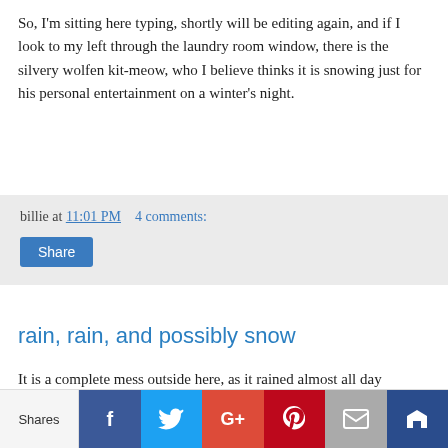So, I'm sitting here typing, shortly will be editing again, and if I look to my left through the laundry room window, there is the silvery wolfen kit-meow, who I believe thinks it is snowing just for his personal entertainment on a winter's night.
billie at 11:01 PM    4 comments:
Share
rain, rain, and possibly snow
It is a complete mess outside here, as it rained almost all day yesterday, apparently all night long, and is still going right now. The temperature is dropping, the wind is blowing, and for the first time in a long time, I've actually closed the geldings in stalls to keep them dry and keep the stalls from getting drafty.
Salina and the donkeys have the barn aisle plus two stalls, and I've
Shares  f  t  G+  P  [mail]  [crown]